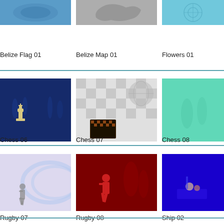[Figure (photo): Belize Flag 01 thumbnail - blue background with faint design]
Belize Flag 01
[Figure (photo): Belize Map 01 thumbnail - gray map silhouette]
Belize Map 01
[Figure (photo): Flowers 01 thumbnail - light blue with flower pattern]
Flowers 01
[Figure (photo): Chess 06 thumbnail - dark blue background with chess king piece]
Chess 06
[Figure (photo): Chess 07 thumbnail - light gray checkered background with chessboard]
Chess 07
[Figure (photo): Chess 08 thumbnail - teal/mint green background with chess figures]
Chess 08
[Figure (photo): Rugby 07 thumbnail - light blue/pink blurred background with rugby player]
Rugby 07
[Figure (photo): Rugby 08 thumbnail - dark red background with rugby player in red]
Rugby 08
[Figure (photo): Ship 02 thumbnail - bright blue background with ship]
Ship 02